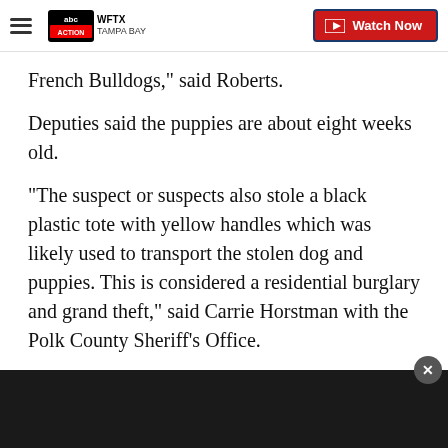WFTX Tampa Bay — Watch Now
French Bulldogs," said Roberts.
Deputies said the puppies are about eight weeks old.
"The suspect or suspects also stole a black plastic tote with yellow handles which was likely used to transport the stolen dog and puppies. This is considered a residential burglary and grand theft," said Carrie Horstman with the Polk County Sheriff's Office.
Roberts said nothing else was stolen from the home.
"There was money on the counter. There was a TV and